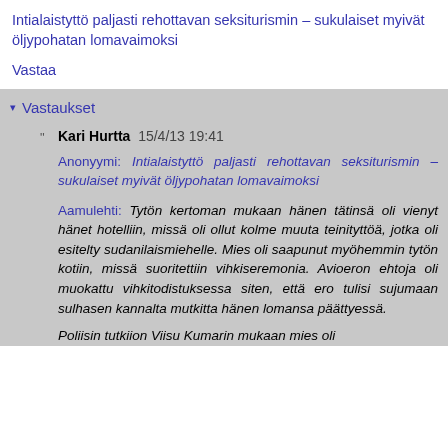Intialaistyttö paljasti rehottavan seksiturismin – sukulaiset myivät öljypohatan lomavaimoksi
Vastaa
Vastaukset
Kari Hurtta  15/4/13 19:41
Anonyymi: Intialaistyttö paljasti rehottavan seksiturismin – sukulaiset myivät öljypohatan lomavaimoksi

Aamulehti: Tytön kertoman mukaan hänen tätinsä oli vienyt hänet hotelliin, missä oli ollut kolme muuta teinityttöä, jotka oli esitelty sudanilaismiehelle. Mies oli saapunut myöhemmin tytön kotiin, missä suoritettiin vihkiseremonia. Avioeron ehtoja oli muokattu vihkitodistuksessa siten, että ero tulisi sujumaan sulhasen kannalta mutkitta hänen lomansa päättyessä.
Poliisin tutkiion Viisu Kumarin mukaan mies oli